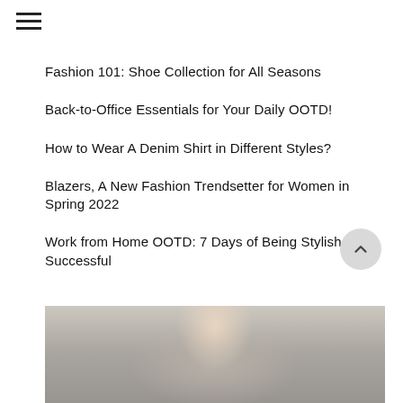[Figure (other): Hamburger menu icon (three horizontal lines)]
Fashion 101: Shoe Collection for All Seasons
Back-to-Office Essentials for Your Daily OOTD!
How to Wear A Denim Shirt in Different Styles?
Blazers, A New Fashion Trendsetter for Women in Spring 2022
Work from Home OOTD: 7 Days of Being Stylish and Successful
[Figure (photo): Blurred outdoor photo of a person with light background, partially visible at bottom of page]